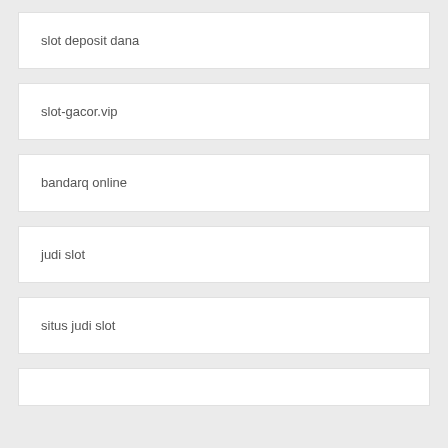slot deposit dana
slot-gacor.vip
bandarq online
judi slot
situs judi slot